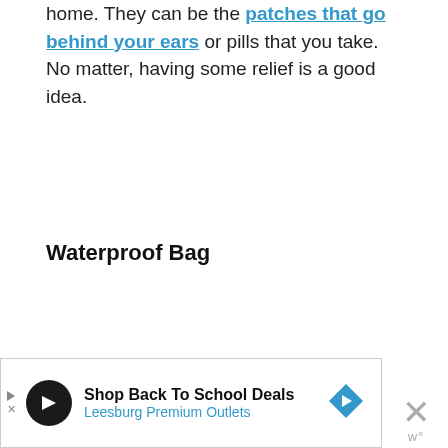home. They can be the patches that go behind your ears or pills that you take. No matter, having some relief is a good idea.
Waterproof Bag
[Figure (other): Advertisement banner for Leesburg Premium Outlets - Shop Back To School Deals, with navigation arrow icon, close button (X), and w° logo]